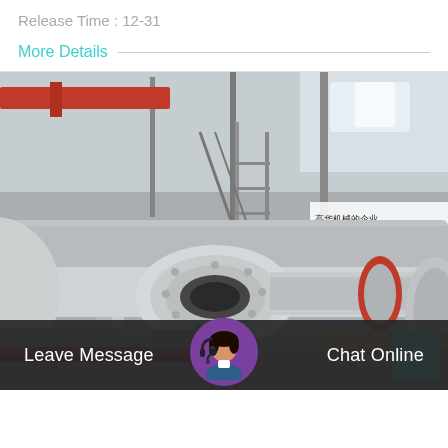Release Time : 12-31
More Details
[Figure (photo): Industrial factory floor showing large ball mills / grinding mill cylinders laid horizontally, inside a large warehouse with overhead cranes and structural steel framework. Chinese text visible on banners in the background. The machines are grey cylindrical grinding mills with flanged ends.]
Leave Message
Chat Online